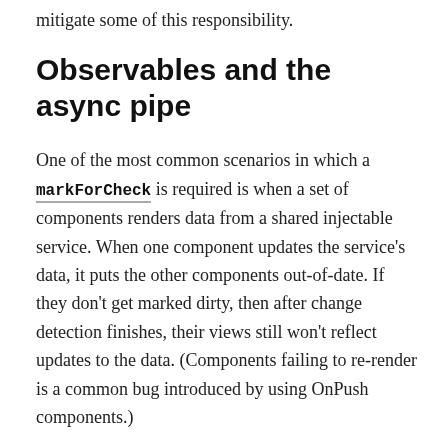mitigate some of this responsibility.
Observables and the async pipe
One of the most common scenarios in which a markForCheck is required is when a set of components renders data from a shared injectable service. When one component updates the service’s data, it puts the other components out-of-date. If they don’t get marked dirty, then after change detection finishes, their views still won’t reflect updates to the data. (Components failing to re-render is a common bug introduced by using OnPush components.)
One of Angular’s preferred solutions in this situation is using Observables and